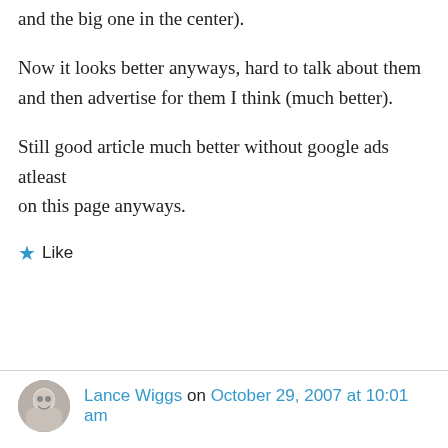and the big one in the center).
Now it looks better anyways, hard to talk about them and then advertise for them I think (much better).
Still good article much better without google ads atleast
on this page anyways.
★ Like
Lance Wiggs on October 29, 2007 at 10:01 am
Hmmmm/much better
Funny.
Actually I have no control over the presence of Google ads – that is all done by WordPress.com